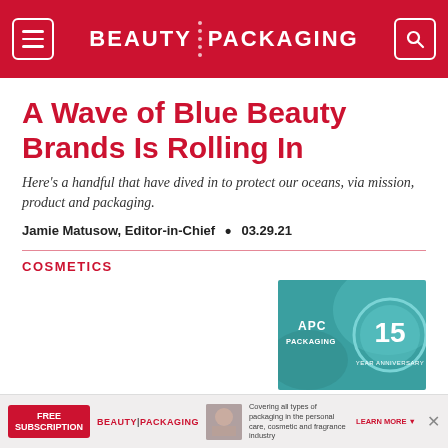BEAUTY PACKAGING
A Wave of Blue Beauty Brands Is Rolling In
Here's a handful that have dived in to protect our oceans, via mission, product and packaging.
Jamie Matusow, Editor-in-Chief • 03.29.21
COSMETICS
[Figure (photo): APC Packaging 15th Anniversary logo/badge on teal background]
APC Packaging Celebrates 15th Anniversary
[Figure (infographic): Bottom banner ad: FREE SUBSCRIPTION - BEAUTY PACKAGING - covering all types of packaging in the personal care, cosmetic and fragrance industry - LEARN MORE]